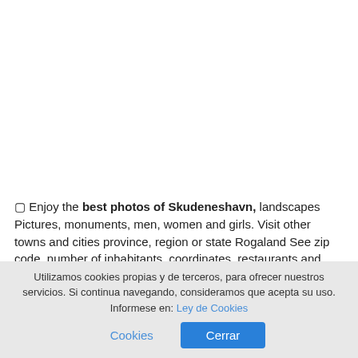🔲 Enjoy the best photos of Skudeneshavn, landscapes Pictures, monuments, men, women and girls. Visit other towns and cities province, region or state Rogaland See zip code, number of inhabitants, coordinates, restaurants and hotels
These are photos taken by their neighbors and tourists, In the vicinity of the following coordinates, latitude and longitude
Utilizamos cookies propias y de terceros, para ofrecer nuestros servicios. Si continua navegando, consideramos que acepta su uso. Informese en: Ley de Cookies   Cerrar